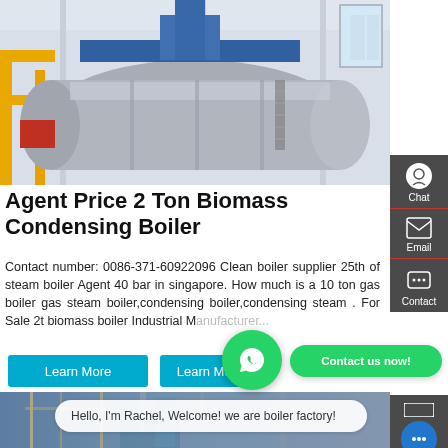[Figure (photo): Industrial biomass condensing boiler in a factory/warehouse setting, showing large cylindrical boiler vessel with yellow pipes, blue overhead framework, white walls with windows]
Agent Price 2 Ton Biomass Condensing Boiler
Contact number: 0086-371-60922096 Clean boiler supplier 25th of steam boiler Agent 40 bar in singapore. How much is a 10 ton gas boiler gas steam boiler,condensing boiler,condensing steam . For Sale 2t biomass boiler Industrial Manufacturer...
[Figure (screenshot): WhatsApp contact button (green circle with phone icon) and 'Contact us now!' green button]
[Figure (photo): Interior of industrial boiler factory showing equipment, scaffolding, and blue-toned warehouse space]
Hello, I'm Rachel, Welcome! we are boiler factory!